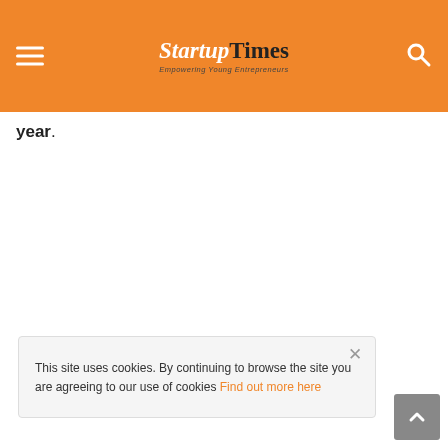StartupTimes — Empowering Young Entrepreneurs
year.
This site uses cookies. By continuing to browse the site you are agreeing to our use of cookies Find out more here